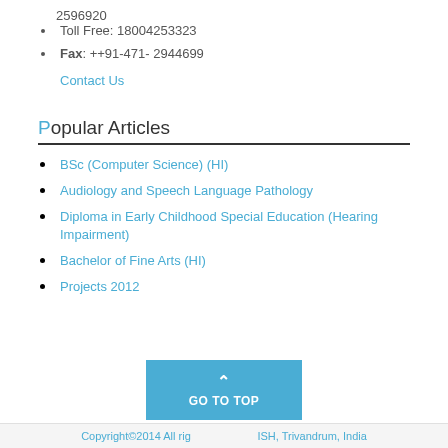2596920
Toll Free: 18004253323
Fax: ++91-471- 2944699
Contact Us
Popular Articles
BSc (Computer Science) (HI)
Audiology and Speech Language Pathology
Diploma in Early Childhood Special Education (Hearing Impairment)
Bachelor of Fine Arts (HI)
Projects 2012
Copyright©2014 All righ... ISH, Trivandrum, India